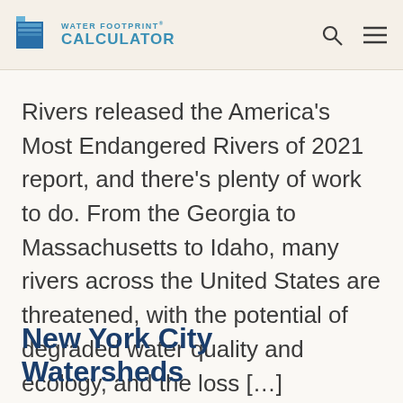WATER FOOTPRINT CALCULATOR
Rivers released the America’s Most Endangered Rivers of 2021 report, and there’s plenty of work to do. From the Georgia to Massachusetts to Idaho, many rivers across the United States are threatened, with the potential of degraded water quality and ecology, and the loss […]
New York City Watersheds